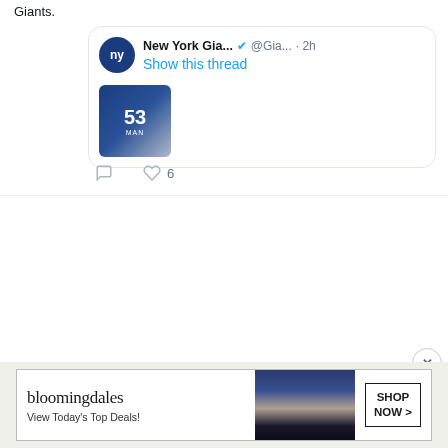Giants.
[Figure (screenshot): Embedded tweet card from New York Gia... @Gia... · 2h with verified badge and Show this thread link, with a thumbnail of a 53-man roster graphic]
6 (likes)
You Retweeted
Mike Schumann @... @da... · 8h
IU football 2022 position previews: The running backs #iufb
thedailyhoosier.com/iu-football-20...
[Figure (photo): Photo of a football player wearing a red helmet and white jersey with red stripes]
[Figure (other): Bloomingdales advertisement banner: 'bloomingdales - View Today's Top Deals! SHOP NOW >']